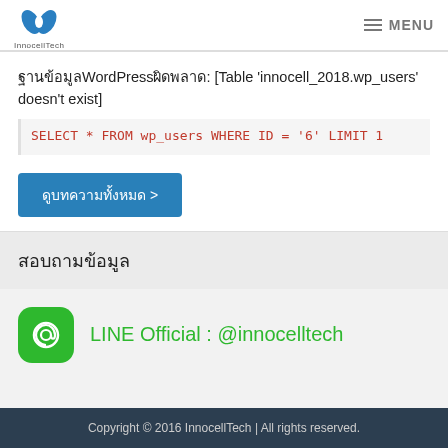InnocellTech | MENU
ฐานข้อมูลWordPressผิดพลาด: [Table 'innocell_2018.wp_users' doesn't exist]
SELECT * FROM wp_users WHERE ID = '6' LIMIT 1
ดูบทความทั้งหมด >
สอบถามข้อมูล
LINE Official : @innocelltech
Copyright © 2016 InnocellTech | All rights reserved.